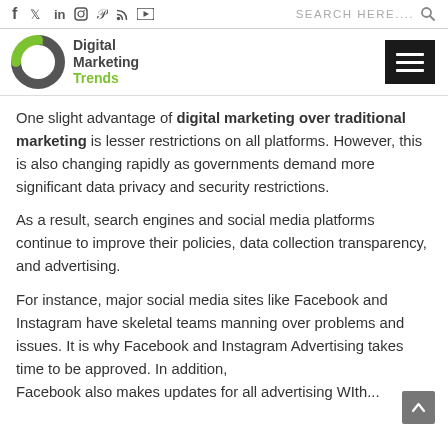Social media icons | SEARCH HERE....
[Figure (logo): Digital Marketing Trends logo with circular grey and green arrow graphic]
One slight advantage of digital marketing over traditional marketing is lesser restrictions on all platforms. However, this is also changing rapidly as governments demand more significant data privacy and security restrictions.
As a result, search engines and social media platforms continue to improve their policies, data collection transparency, and advertising.
For instance, major social media sites like Facebook and Instagram have skeletal teams manning over problems and issues. It is why Facebook and Instagram Advertising takes time to be approved. In addition, Facebook also makes updates for all advertising WIth...